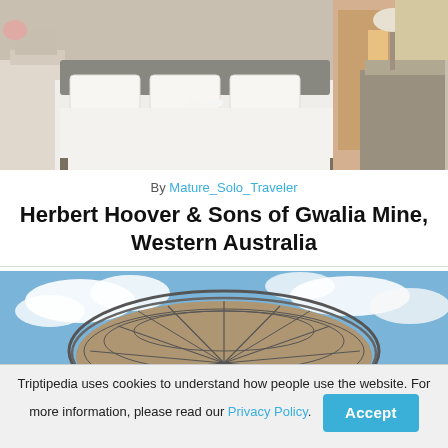[Figure (photo): Hotel bedroom with white bedding, iron bed frames, swan-shaped towel decorations on the bed, wooden furniture, and a hallway visible in the background.]
By Mature_Solo_Traveler
Herbert Hoover & Sons of Gwalia Mine, Western Australia
[Figure (photo): A large industrial fan or cage structure photographed from below against a blue cloudy sky, resembling a satellite dish or mining headframe structure.]
Triptipedia uses cookies to understand how people use the website. For more information, please read our Privacy Policy.